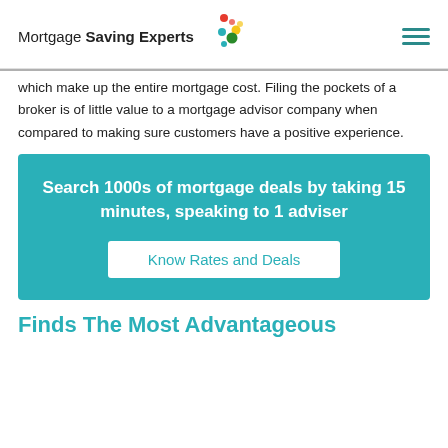Mortgage Saving Experts
which make up the entire mortgage cost. Filing the pockets of a broker is of little value to a mortgage advisor company when compared to making sure customers have a positive experience.
Search 1000s of mortgage deals by taking 15 minutes, speaking to 1 adviser
Know Rates and Deals
Finds The Most Advantageous